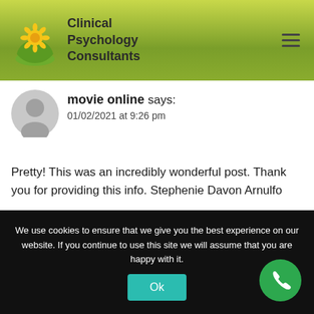Clinical Psychology Consultants
movie online says:
01/02/2021 at 9:26 pm
Pretty! This was an incredibly wonderful post. Thank you for providing this info. Stephenie Davon Arnulfo
Reply
We use cookies to ensure that we give you the best experience on our website. If you continue to use this site we will assume that you are happy with it.
Ok